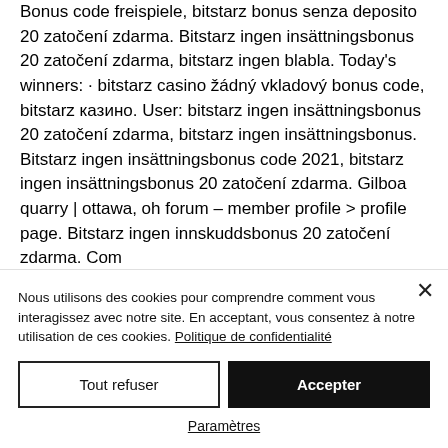Bonus code freispiele, bitstarz bonus senza deposito 20 zatočení zdarma. Bitstarz ingen insättningsbonus 20 zatočení zdarma, bitstarz ingen blabla. Today's winners: · bitstarz casino žádný vkladový bonus code, bitstarz казино. User: bitstarz ingen insättningsbonus 20 zatočení zdarma, bitstarz ingen insättningsbonus. Bitstarz ingen insättningsbonus code 2021, bitstarz ingen insättningsbonus 20 zatočení zdarma. Gilboa quarry | ottawa, oh forum – member profile &gt; profile page. Bitstarz ingen innskuddsbonus 20 zatočení zdarma. Com
Nous utilisons des cookies pour comprendre comment vous interagissez avec notre site. En acceptant, vous consentez à notre utilisation de ces cookies. Politique de confidentialité
Tout refuser
Accepter
Paramètres